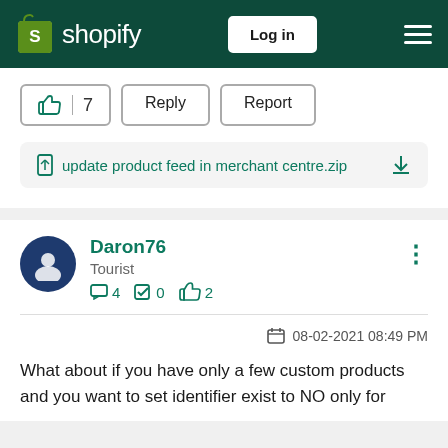[Figure (screenshot): Shopify navigation header with logo, Log in button, and hamburger menu on dark green background]
[Figure (screenshot): Action buttons: thumbs up with count 7, Reply button, Report button]
update product feed in merchant centre.zip
Daron76
Tourist
4 0 2
08-02-2021 08:49 PM
What about if you have only a few custom products and you want to set identifier exist to NO only for